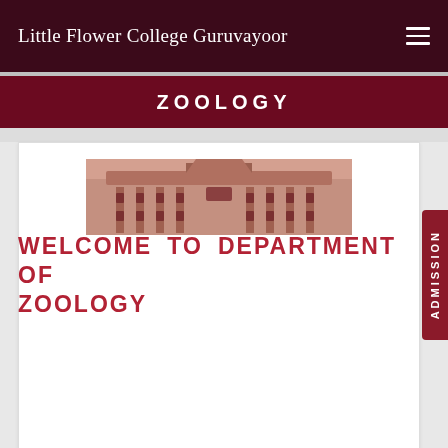Little Flower College Guruvayoor
ZOOLOGY
[Figure (photo): Front view of a college building with arched windows and red-brown facade]
WELCOME TO DEPARTMENT OF ZOOLOGY